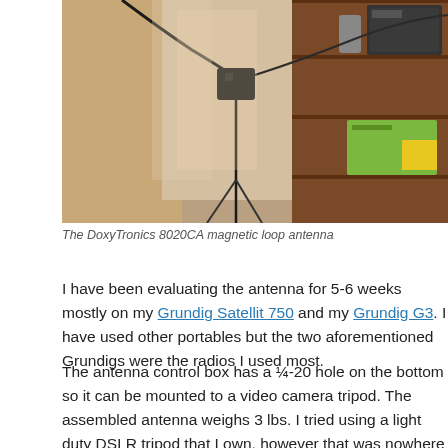[Figure (photo): Photo of the DoxyTronics 8020CA magnetic loop antenna on a tripod near a window, with radio equipment on a wooden shelf in the background.]
The DoxyTronics 8020CA magnetic loop antenna
I have been evaluating the antenna for 5-6 weeks mostly on my Grundig Satellit 750 and my Grundig G3. I have used other portables but the two aforementioned Grundigs were the radios I used most.
The antenna control box has a ¼-20 hole on the bottom so it can be mounted to a video camera tripod. The assembled antenna weighs 3 lbs. I tried using a light duty DSLR tripod that I own, however that was nowhere near sturdy enough. I had to use a heavier duty tripod (Ravelli AVT) that I use for astronomical purposes. This Ravelli has a weight capacity of